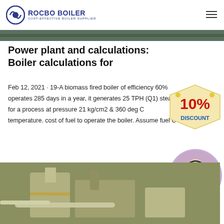ROCBO BOILER — COST-EFFECTIVE BOILER SUPPLIER
[Figure (photo): Top green/dark background image strip]
Power plant and calculations: Boiler calculations for
Feb 12, 2021 · 19-A biomass fired boiler of efficiency 60% operates 285 days in a year, it generates 25 TPH (Q1) steam for a process at pressure 21 kg/cm2 & 360 deg C temperature. cost of fuel to operate the boiler. Assume fuel C
[Figure (infographic): 10% DISCOUNT badge in red and blue]
Get Price
[Figure (photo): Customer service representative wearing headset, circular crop]
[Figure (photo): Industrial boiler equipment at a plant facility]